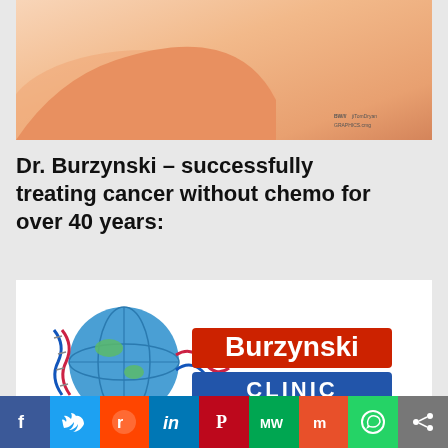[Figure (illustration): Partial image of a human arm/skin, cropped at top of page, with watermark text in bottom right corner reading 'BW / jiTomDryan / GRAPHICS.cmg']
Dr. Burzynski – successfully treating cancer without chemo for over 40 years:
[Figure (logo): Burzynski Clinic logo featuring a globe with DNA helix, red banner reading 'Burzynski', blue banner reading 'CLINIC', and tagline 'First, Do No Harm!']
f  Twitter  Reddit  in  Pinterest  MW  Mix  WhatsApp  Share